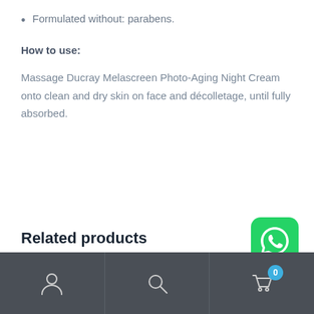Formulated without: parabens.
How to use:
Massage Ducray Melascreen Photo-Aging Night Cream onto clean and dry skin on face and décolletage, until fully absorbed.
Related products
[Figure (logo): WhatsApp icon — green rounded square with white phone/speech bubble logo]
Navigation bar with user, search, and cart icons